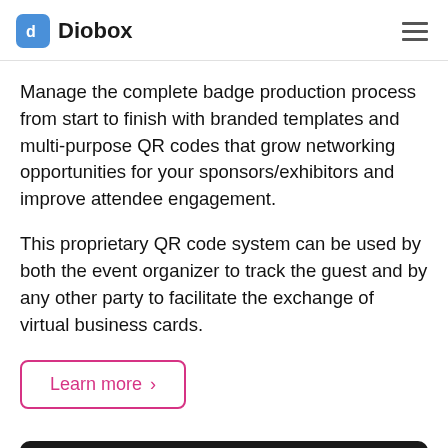Diobox
Manage the complete badge production process from start to finish with branded templates and multi-purpose QR codes that grow networking opportunities for your sponsors/exhibitors and improve attendee engagement.
This proprietary QR code system can be used by both the event organizer to track the guest and by any other party to facilitate the exchange of virtual business cards.
Learn more >
[Figure (screenshot): Bottom portion of a tablet/device screen showing a dark device frame with a colored interface preview at the bottom]